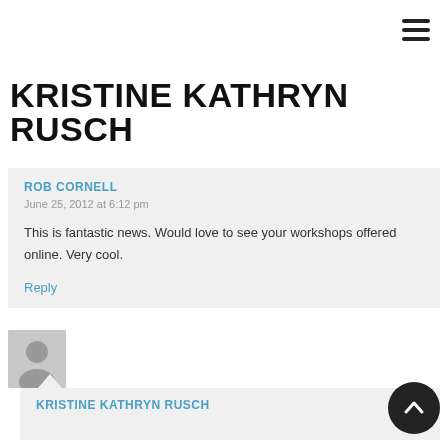≡ (hamburger menu icon)
KRISTINE KATHRYN RUSCH
ROB CORNELL
June 25, 2012 at 6:12 pm

This is fantastic news. Would love to see your workshops offered online. Very cool.

Reply
[Figure (photo): Generic user avatar silhouette in gray]
KRISTINE KATHRYN RUSCH